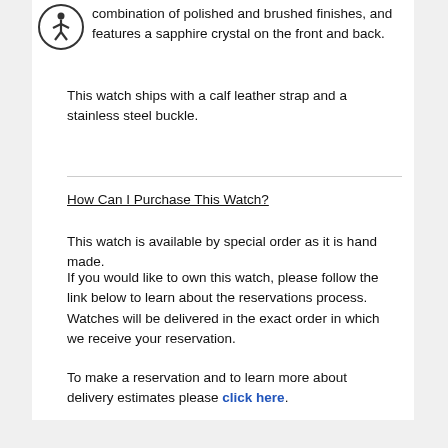combination of polished and brushed finishes, and features a sapphire crystal on the front and back.
This watch ships with a calf leather strap and a stainless steel buckle.
How Can I Purchase This Watch?
This watch is available by special order as it is hand made.
If you would like to own this watch, please follow the link below to learn about the reservations process.  Watches will be delivered in the exact order in which we receive your reservation.
To make a reservation and to learn more about delivery estimates please click here.